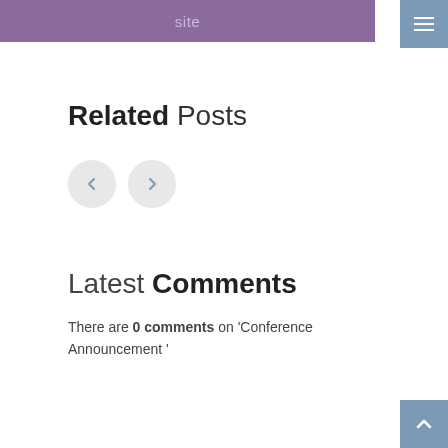site
[Figure (screenshot): Menu hamburger button (three horizontal lines) on a steel-blue background in the top-right corner]
Related Posts
[Figure (other): Two circular navigation buttons (left arrow and right arrow) on light gray background]
Latest Comments
There are 0 comments on 'Conference Announcement '
[Figure (other): Back-to-top button with upward chevron arrow on steel-blue background in bottom-right corner]